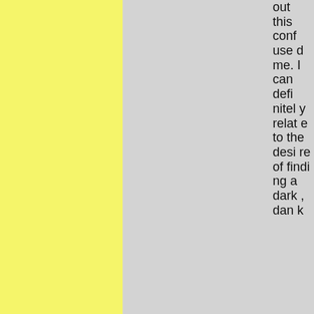out this confused me. I can definitely relate to the desire of finding a dark, dank